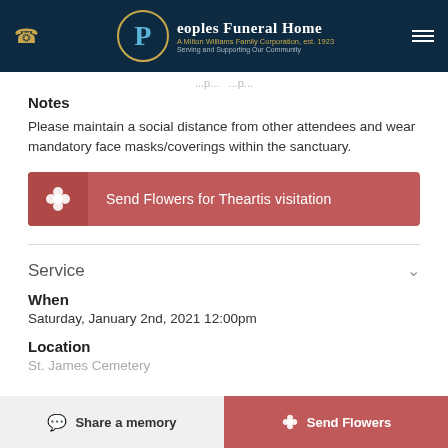Peoples Funeral Home — A Milton Williams Family Corporation, est. 1923 — Serving and Supporting Our Community
... p...
Notes
Please maintain a social distance from other attendees and wear mandatory face masks/coverings within the sanctuary.
Send Flowers for Theartis visitation
Service
When
Saturday, January 2nd, 2021 12:00pm
Location
St. James Cemetery
Share a memory   Send Flowers